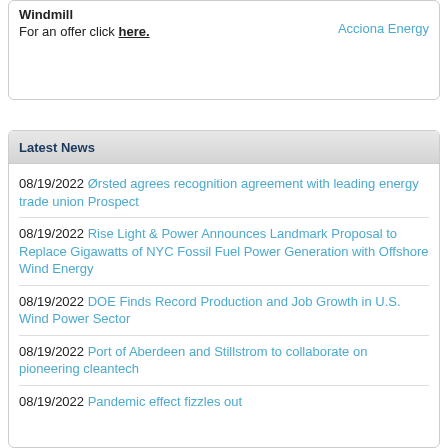Windmill
For an offer click here.
Acciona Energy
Latest News
08/19/2022 Ørsted agrees recognition agreement with leading energy trade union Prospect
08/19/2022 Rise Light & Power Announces Landmark Proposal to Replace Gigawatts of NYC Fossil Fuel Power Generation with Offshore Wind Energy
08/19/2022 DOE Finds Record Production and Job Growth in U.S. Wind Power Sector
08/19/2022 Port of Aberdeen and Stillstrom to collaborate on pioneering cleantech
08/19/2022 Pandemic effect fizzles out